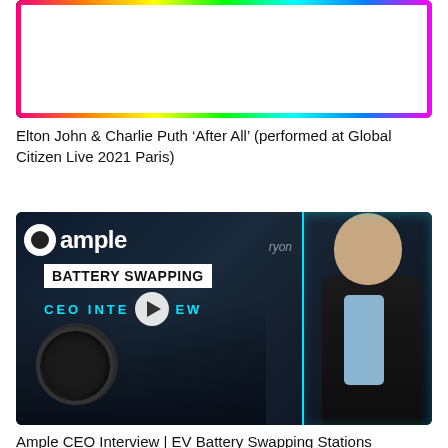[Figure (screenshot): Video thumbnail showing Elton John and Charlie Puth performing, with a rainbow-colored border and a play button overlay in the center.]
Elton John & Charlie Puth ‘After All’ (performed at Global Citizen Live 2021 Paris)
[Figure (screenshot): Video thumbnail for Ample CEO Interview about EV Battery Swapping Stations. Shows the Ample logo, 'BATTERY SWAPPING' text in a white box, 'CEO INTERVIEW' in cyan text, a play button, and a man (CEO) standing on the right side with a cyan glow outline.]
Ample CEO Interview | EV Battery Swapping Stations